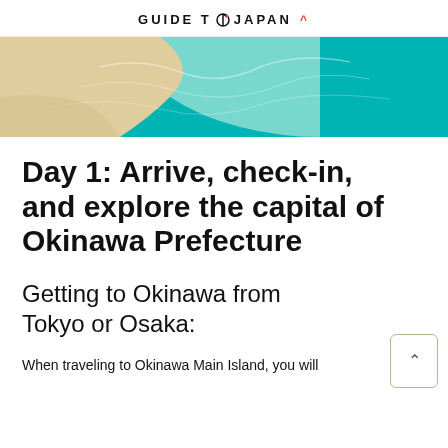GUIDE TO JAPAN ^
[Figure (photo): Aerial view of a turquoise ocean shoreline with white sandy beach, showing the transition from sand to clear shallow water to deeper teal water.]
Day 1: Arrive, check-in, and explore the capital of Okinawa Prefecture
Getting to Okinawa from Tokyo or Osaka:
When traveling to Okinawa Main Island, you will